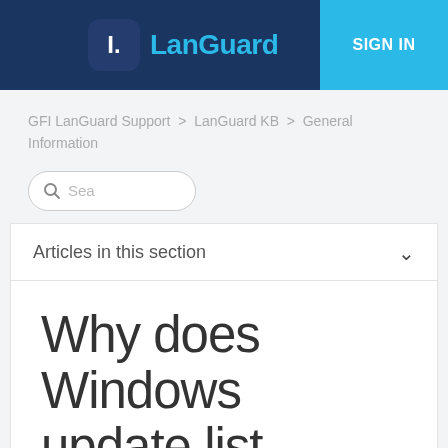LanGuard | SIGN IN
GFI LanGuard Support > LanGuard KB > General Information
[Figure (other): Search box with magnifying glass icon and placeholder text 'Sec']
Articles in this section
Why does Windows update list